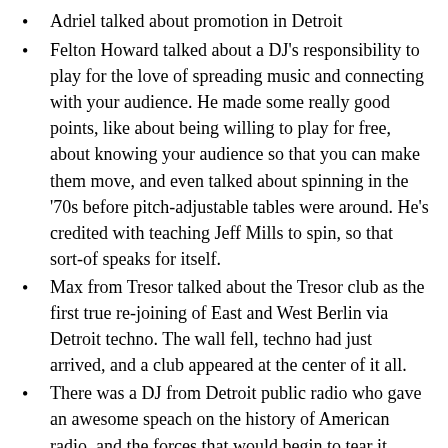Adriel talked about promotion in Detroit
Felton Howard talked about a DJ's responsibility to play for the love of spreading music and connecting with your audience. He made some really good points, like about being willing to play for free, about knowing your audience so that you can make them move, and even talked about spinning in the '70s before pitch-adjustable tables were around. He's credited with teaching Jeff Mills to spin, so that sort-of speaks for itself.
Max from Tresor talked about the Tresor club as the first true re-joining of East and West Berlin via Detroit techno. The wall fell, techno had just arrived, and a club appeared at the center of it all.
There was a DJ from Detroit public radio who gave an awesome speach on the history of American radio, and the forces that would begin to tear it apart, starting in 1943, through the Telecommunications Act of 1996 and the new proposed amendments that will further dilute the American market. That was really cool.